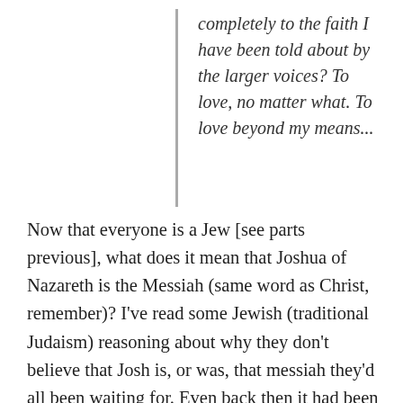completely to the faith I have been told about by the larger voices? To love, no matter what. To love beyond my means...
Now that everyone is a Jew [see parts previous], what does it mean that Joshua of Nazareth is the Messiah (same word as Christ, remember)? I've read some Jewish (traditional Judaism) reasoning about why they don't believe that Josh is, or was, that messiah they'd all been waiting for. Even back then it had been a long wait for one. The biggest one seems to be that they